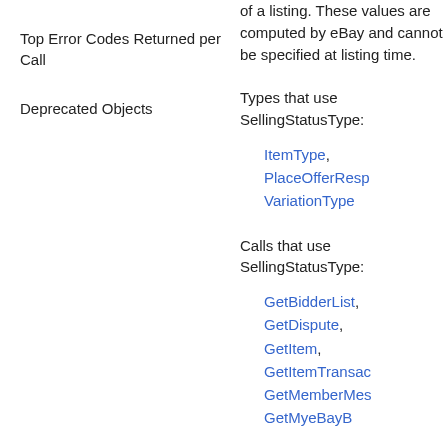Top Error Codes Returned per Call
Deprecated Objects
of a listing. These values are computed by eBay and cannot be specified at listing time.
Types that use SellingStatusType:
ItemType, PlaceOfferResponse, VariationType
Calls that use SellingStatusType:
GetBidderList, GetDispute, GetItem, GetItemTransactions, GetMemberMessages, GetMyeBayBuying